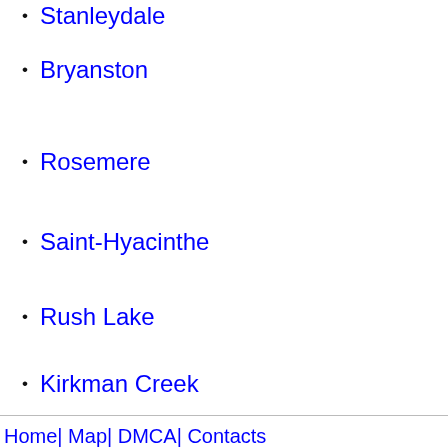Stanleydale
Bryanston
Rosemere
Saint-Hyacinthe
Rush Lake
Kirkman Creek
Newbury
Pennant
Killaly
Home| Map| DMCA| Contacts